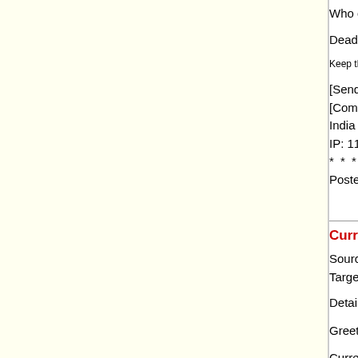Who can apply: Freelancers and agencies
Deadline for applying: 06/30/2022
Keep this ad at the site permanently, but disable apply
[Sender name hidden]
[Company name hidden]
India
IP: 117.222.207.135 (New Delhi, India)
* * * * * * * * * * * * * * * * * * *
Posted on Wednesday, 15 Jun 2022, 09:
This jo
Currently we are looking for a Roman...
Source language(s): English
Target language(s): Romanian
Details of the project: Hi,
Greetings!
Currently we are looking for a Romanian
Source Language: English